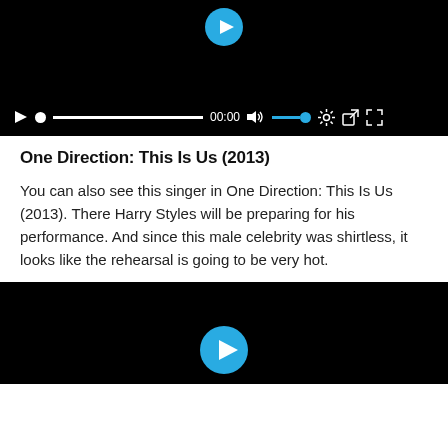[Figure (screenshot): Video player controls bar showing play button, progress bar with dot at start, 00:00 timecode, volume icon, volume slider with blue fill and dot, settings gear icon, and two expand/share icons on black background]
One Direction: This Is Us (2013)
You can also see this singer in One Direction: This Is Us (2013). There Harry Styles will be preparing for his performance. And since this male celebrity was shirtless, it looks like the rehearsal is going to be very hot.
[Figure (screenshot): Video player with black background and partially visible blue circular play button at the bottom center]